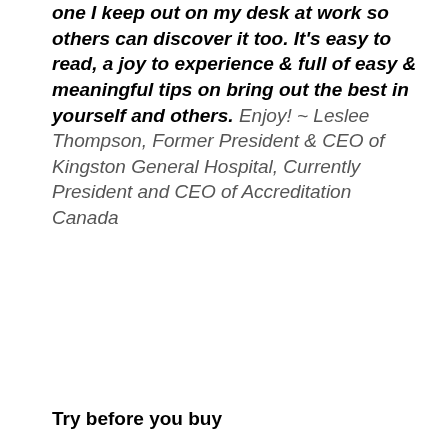one I keep out on my desk at work so others can discover it too. It's easy to read, a joy to experience & full of easy & meaningful tips on bring out the best in yourself and others. Enjoy! ~ Leslee Thompson, Former President & CEO of Kingston General Hospital, Currently President and CEO of Accreditation Canada
Try before you buy